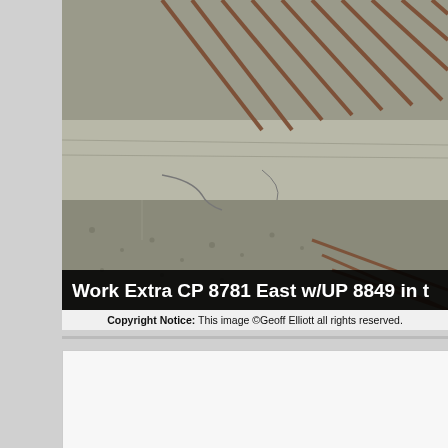[Figure (photo): Photo of railroad tracks and steel rails on a concrete surface with gravel. The image shows rail equipment and infrastructure. A black overlay bar at the bottom contains white bold text: 'Work Extra CP 8781 East w/UP 8849 in t']
Copyright Notice: This image ©Geoff Elliott all rights reserved.
Caption: Hapag-Lloyd running "Southern Style".... CP's Hapag-Lloyd unit, March 24, 2022. Here's how the story goes.... So around 6:00am on Marc ran out of fuel and came to a stop blocking the Gracie Sideroad just west go out and drag 244 back to Belle River?' 'Nope'. 'Is T69 still around Cha around to do an assist, and UP 8849 far enough past the Gracie Sideroa rescue. But 141 isn't ready to Leave London yet. Eventually, around 0930